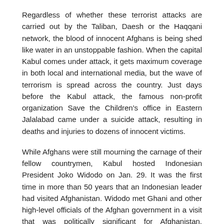Regardless of whether these terrorist attacks are carried out by the Taliban, Daesh or the Haqqani network, the blood of innocent Afghans is being shed like water in an unstoppable fashion. When the capital Kabul comes under attack, it gets maximum coverage in both local and international media, but the wave of terrorism is spread across the country. Just days before the Kabul attack, the famous non-profit organization Save the Children's office in Eastern Jalalabad came under a suicide attack, resulting in deaths and injuries to dozens of innocent victims.
While Afghans were still mourning the carnage of their fellow countrymen, Kabul hosted Indonesian President Joko Widodo on Jan. 29. It was the first time in more than 50 years that an Indonesian leader had visited Afghanistan. Widodo met Ghani and other high-level officials of the Afghan government in a visit that was politically significant for Afghanistan. Indonesia is the largest Muslim state and has a strong and